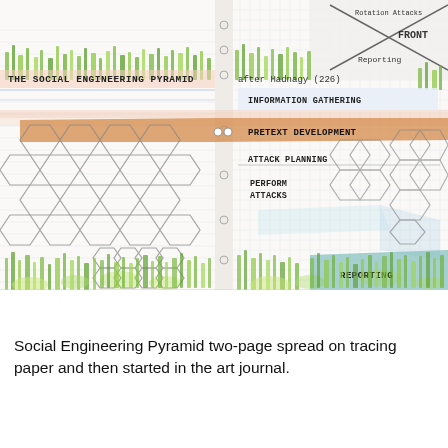[Figure (illustration): Two-page spread sketch on tracing/graph paper showing 'The Social Engineering Pyramid after Hadnagy (226)'. Left page has honeycomb hexagon pattern with grass/plant watercolor. Right page shows pyramid layers labeled from top to bottom: INFORMATION GATHERING, PRETEXT DEVELOPMENT, ATTACK PLANNING, PERFORM ATTACKS, REPORTING. Top right corner shows a separate sketch with 'Rotation Attacks' label and 'FRONT' text. Watercolor green plants/grass appear along top and bottom edges.]
Social Engineering Pyramid two-page spread on tracing paper and then started in the art journal.